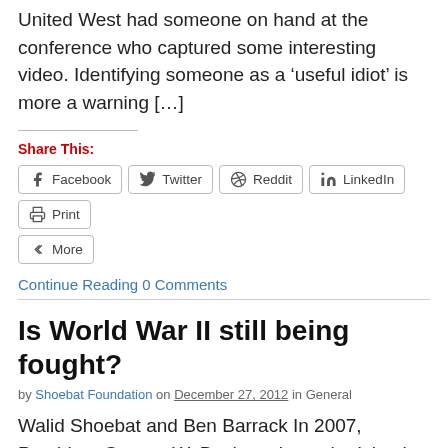United West had someone on hand at the conference who captured some interesting video. Identifying someone as a 'useful idiot' is more a warning [...]
Share This:
Facebook  Twitter  Reddit  LinkedIn  Print  More
Continue Reading 0 Comments
Is World War II still being fought?
by Shoebat Foundation on December 27, 2012 in General
Walid Shoebat and Ben Barrack In 2007, President George W. Bush spoke at the Islamic Center of Washington, D.C. and was introduced by the